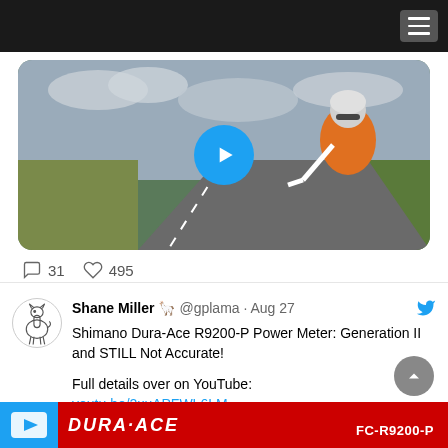[Figure (screenshot): Navigation bar with hamburger menu icon on dark background]
[Figure (screenshot): Video thumbnail of cyclist on road with play button overlay, showing 31 comments and 495 likes]
31   495
[Figure (screenshot): Tweet by Shane Miller @gplama Aug 27: Shimano Dura-Ace R9200-P Power Meter: Generation II and STILL Not Accurate! Full details over on YouTube: youtu.be/2xuAPFWL6LM]
Shane Miller 🦙 @gplama · Aug 27
Shimano Dura-Ace R9200-P Power Meter: Generation II and STILL Not Accurate!

Full details over on YouTube:
youtu.be/2xuAPFWL6LM
[Figure (screenshot): Bottom image strip with YouTube icon and Dura-Ace FC-R9200-P text on red background]